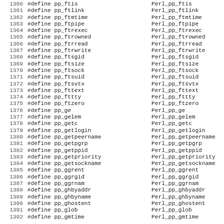Code listing: #define pp_ftis through pp_gmtime with Perl_ prefixed equivalents, lines 1360-1392